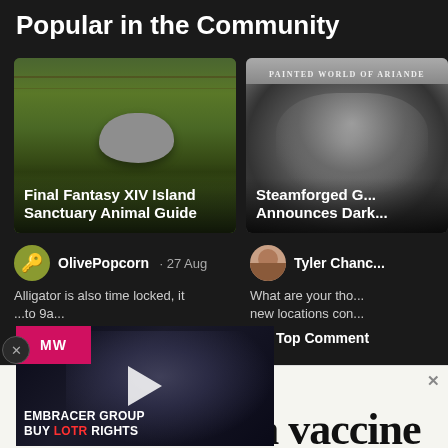Popular in the Community
[Figure (screenshot): Card thumbnail: Final Fantasy XIV Island Sanctuary scene with grassy field and large rounded animal shape]
[Figure (screenshot): Card thumbnail: Dark Souls style game artwork - Painted World of Ariande, grayscale figure]
Final Fantasy XIV Island Sanctuary Animal Guide
Steamforged G... Announces Dark...
OlivePopcorn · 27 Aug
Alligator is also time locked, it ... to 9a...
👍 3
Tyler Chanc...
What are your tho... new locations con...
🔥 Top Comment
[Figure (screenshot): MW video ad overlay: Embracer Group Buy LOTR Rights video thumbnail with play button, pink/red MW logo, dark background with face]
[Figure (screenshot): Advertisement banner at bottom: 'Until there's a vaccine' large serif text on light background]